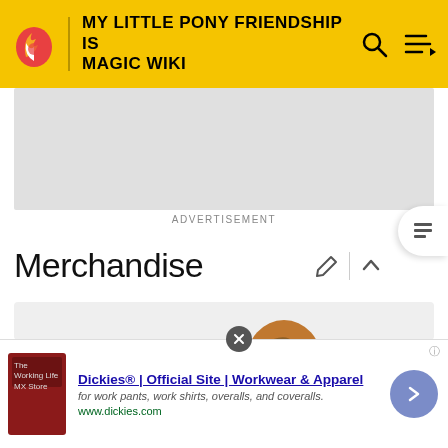MY LITTLE PONY FRIENDSHIP IS MAGIC WIKI
ADVERTISEMENT
Merchandise
[Figure (illustration): Cartoon illustration of a cello/violin scroll and pegbox with tuning pegs, partially visible instrument body, on a light gray background]
Dickies® | Official Site | Workwear & Apparel
for work pants, work shirts, overalls, and coveralls.
www.dickies.com